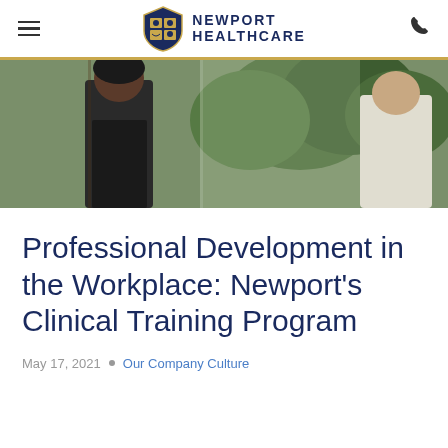Newport Healthcare
[Figure (photo): Two people in conversation near a window with green trees visible outside. One person wearing dark clothing on the left, another in white on the right.]
Professional Development in the Workplace: Newport’s Clinical Training Program
May 17, 2021 • Our Company Culture